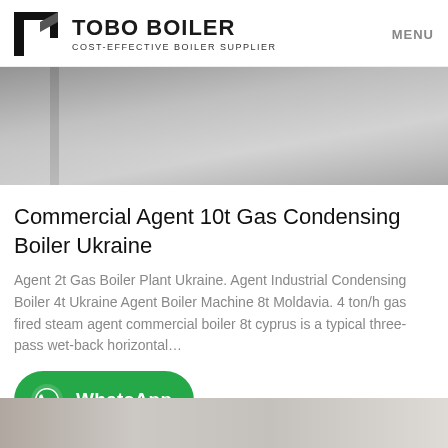TOBO BOILER — COST-EFFECTIVE BOILER SUPPLIER | MENU
[Figure (photo): Partial outdoor scene showing a metal pole/post against a grey concrete or pavement surface, cropped view of an industrial or exterior area.]
Commercial Agent 10t Gas Condensing Boiler Ukraine
Agent 2t Gas Boiler Plant Ukraine. Agent Industrial Condensing Boiler 4t Ukraine Agent Boiler Machine 8t Moldavia. 4 ton/h gas fired steam agent commercial boiler 8t cyprus is a typical three-pass wet-back horizontal…
[Figure (screenshot): WhatsApp contact button — green rounded rectangle with WhatsApp logo icon and 'WhatsApp' label in white bold text.]
[Figure (photo): Partial bottom image, appears to be an industrial or boiler-related photo, cropped at bottom of page.]